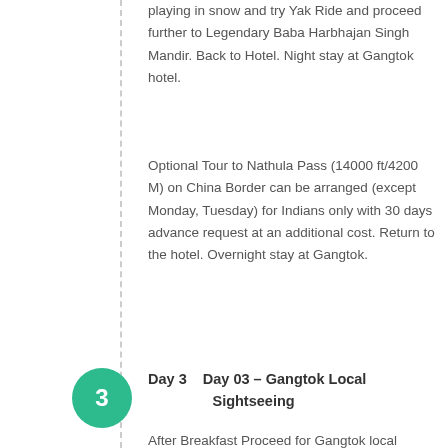playing in snow and try Yak Ride and proceed further to Legendary Baba Harbhajan Singh Mandir. Back to Hotel. Night stay at Gangtok hotel.
Optional Tour to Nathula Pass (14000 ft/4200 M) on China Border can be arranged (except Monday, Tuesday) for Indians only with 30 days advance request at an additional cost. Return to the hotel. Overnight stay at Gangtok.
Day 3    Day 03 – Gangtok Local Sightseeing
After Breakfast Proceed for Gangtok local